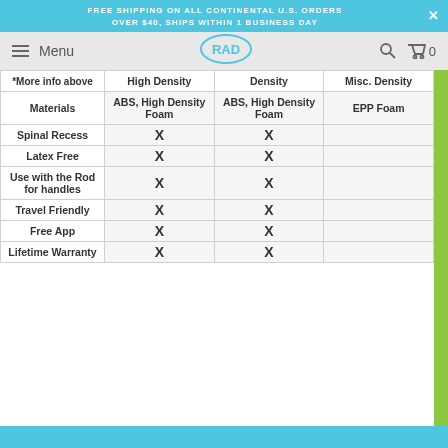FREE SHIPPING ON ALL CONTINENTAL U.S. ORDERS OVER $40, SHIPS WITHIN 1 BUSINESS DAY
|  | High Density | Density | Misc. Density |
| --- | --- | --- | --- |
| *More info above | High Density | Density | Misc. Density |
| Materials | ABS, High Density Foam | ABS, High Density Foam | EPP Foam |
| Spinal Recess | X | X |  |
| Latex Free | X | X |  |
| Use with the Rod for handles | X | X |  |
| Travel Friendly | X | X |  |
| Free App | X | X |  |
| Lifetime Warranty | X | X |  |